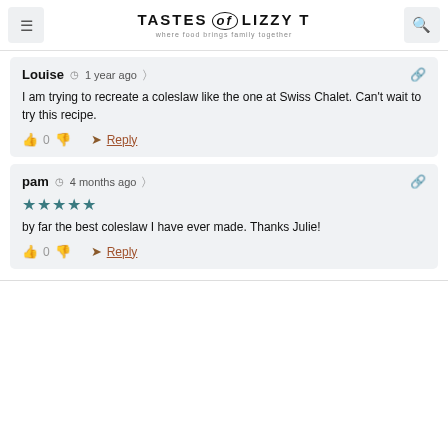TASTES of LIZZY T — where food brings family together
Louise  1 year ago
I am trying to recreate a coleslaw like the one at Swiss Chalet. Can't wait to try this recipe.
0  Reply
pam  4 months ago
★★★★★
by far the best coleslaw I have ever made. Thanks Julie!
0  Reply